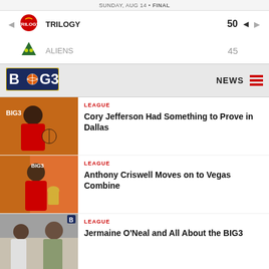SUNDAY, AUG 14 • FINAL
| Team | Score |
| --- | --- |
| TRILOGY | 50 |
| ALIENS | 45 |
[Figure (logo): BIG3 basketball league logo with basketball icon]
NEWS
[Figure (photo): Basketball player in red BIG3 jersey holding a basketball in front of BIG3 banner]
LEAGUE
Cory Jefferson Had Something to Prove in Dallas
[Figure (photo): Basketball player in red jersey smiling holding a trophy at BIG3 event]
LEAGUE
Anthony Criswell Moves on to Vegas Combine
[Figure (photo): Two men talking at a BIG3 indoor basketball facility]
LEAGUE
Jermaine O'Neal and All About the BIG3